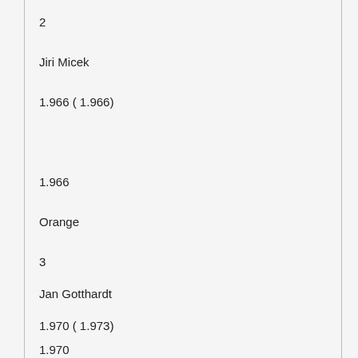2
Jiri Micek
1.966 ( 1.966)
1.966
Orange
3
Jan Gotthardt
1.970 ( 1.973)
1.970